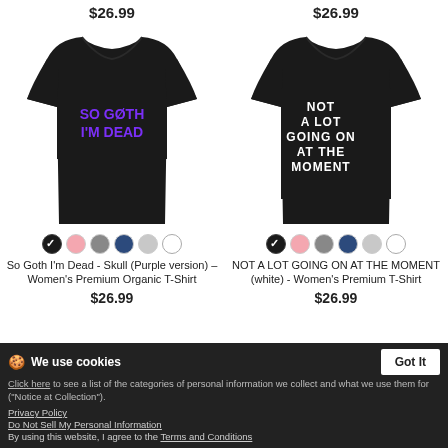$26.99 (left product)
$26.99 (right product)
[Figure (photo): Black women's t-shirt with 'So Goth I'm Dead' in purple text with skull icon]
[Figure (photo): Black women's t-shirt with 'NOT A LOT GOING ON AT THE MOMENT' in white block text]
So Goth I'm Dead - Skull (Purple version) – Women's Premium Organic T-Shirt
NOT A LOT GOING ON AT THE MOMENT (white) - Women's Premium T-Shirt
$26.99
$26.99
We use cookies
Click here to see a list of the categories of personal information we collect and what we use them for ("Notice at Collection").
Privacy Policy
Do Not Sell My Personal Information
By using this website, I agree to the Terms and Conditions